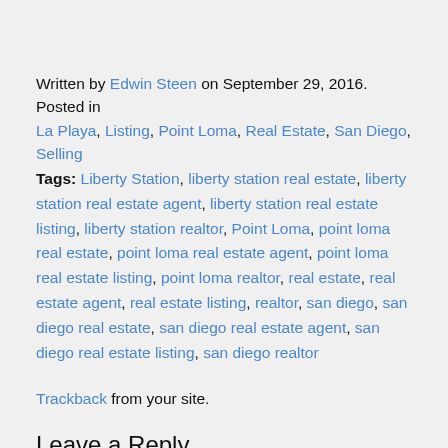Written by Edwin Steen on September 29, 2016. Posted in La Playa, Listing, Point Loma, Real Estate, San Diego, Selling
Tags: Liberty Station, liberty station real estate, liberty station real estate agent, liberty station real estate listing, liberty station realtor, Point Loma, point loma real estate, point loma real estate agent, point loma real estate listing, point loma realtor, real estate, real estate agent, real estate listing, realtor, san diego, san diego real estate, san diego real estate agent, san diego real estate listing, san diego realtor
Trackback from your site.
Leave a Reply